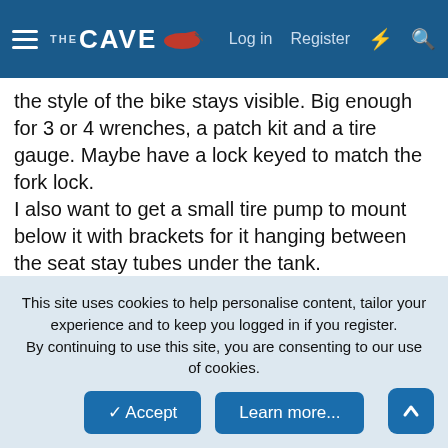THE CAVE — Log in  Register
the style of the bike stays visible. Big enough for 3 or 4 wrenches, a patch kit and a tire gauge. Maybe have a lock keyed to match the fork lock.
I also want to get a small tire pump to mount below it with brackets for it hanging between the seat stay tubes under the tank.

Will this ever end? Will this bike ever be finished? Will I be judged mentally incompetent and be committed to a sanitarium?
Who knows, but it has been a fun ride so far.
This site uses cookies to help personalise content, tailor your experience and to keep you logged in if you register.
By continuing to use this site, you are consenting to our use of cookies.